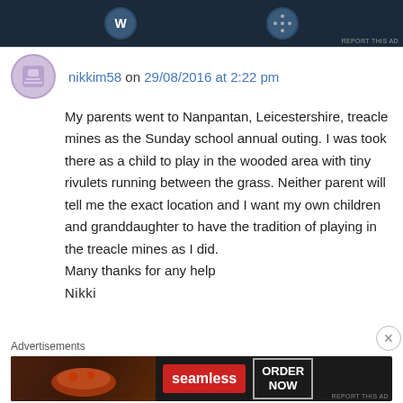[Figure (other): Top advertisement banner with dark blue background and circular logos]
nikkim58 on 29/08/2016 at 2:22 pm
My parents went to Nanpantan, Leicestershire, treacle mines as the Sunday school annual outing. I was took there as a child to play in the wooded area with tiny rivulets running between the grass. Neither parent will tell me the exact location and I want my own children and granddaughter to have the tradition of playing in the treacle mines as I did.
Many thanks for any help
Nikki
Advertisements
[Figure (other): Seamless food delivery advertisement with pizza image, red Seamless button and ORDER NOW white text]